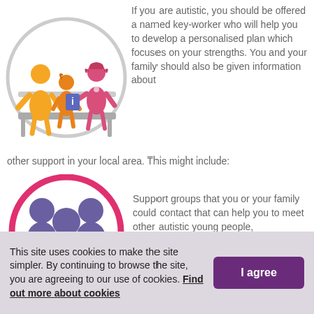[Figure (illustration): Illustration inside a grey circle showing orange figures of adults and a child sitting on a bench, with a pink figure of a healthcare professional holding an information card]
If you are autistic, you should be offered a named key-worker who will help you to develop a personalised plan which focuses on your strengths. You and your family should also be given information about other support in your local area. This might include:
[Figure (illustration): Illustration inside a pink/red circle showing three purple silhouette figures representing a group of people]
Support groups that you or your family could contact that can help you to meet other autistic young people,
This site uses cookies to make the site simpler. By continuing to browse the site, you are agreeing to our use of cookies. Find out more about cookies